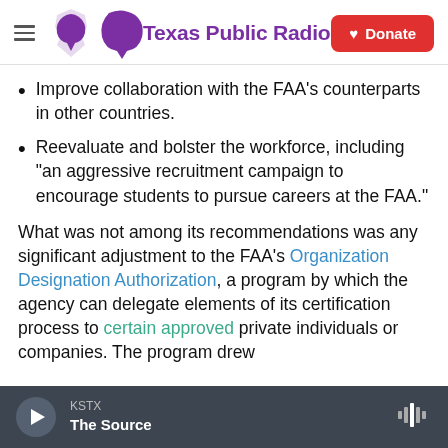Texas Public Radio | Donate
Improve collaboration with the FAA's counterparts in other countries.
Reevaluate and bolster the workforce, including "an aggressive recruitment campaign to encourage students to pursue careers at the FAA."
What was not among its recommendations was any significant adjustment to the FAA's Organization Designation Authorization, a program by which the agency can delegate elements of its certification process to certain approved private individuals or companies. The program drew
KSTX | The Source